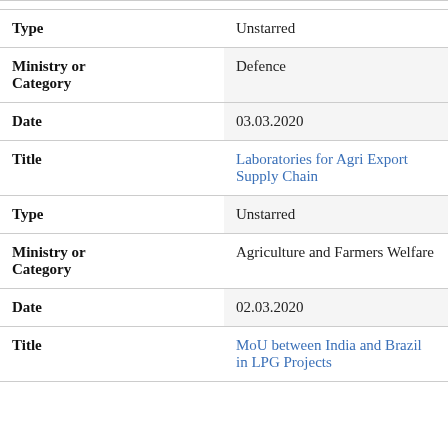| Type | Unstarred |
| Ministry or Category | Defence |
| Date | 03.03.2020 |
| Title | Laboratories for Agri Export Supply Chain |
| Type | Unstarred |
| Ministry or Category | Agriculture and Farmers Welfare |
| Date | 02.03.2020 |
| Title | MoU between India and Brazil in LPG Projects |